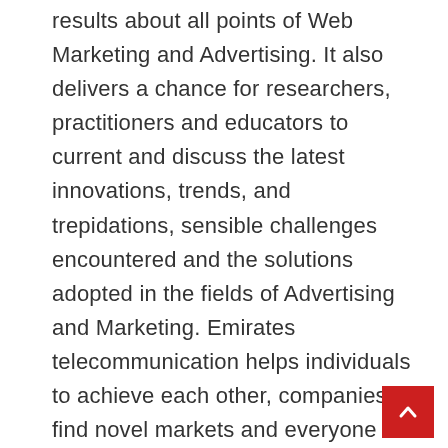results about all points of Web Marketing and Advertising. It also delivers a chance for researchers, practitioners and educators to current and discuss the latest innovations, trends, and trepidations, sensible challenges encountered and the solutions adopted in the fields of Advertising and Marketing. Emirates telecommunication helps individuals to achieve each other, companies to find novel markets and everyone to fulfil their potential. Indian Institute of Technology Bombay was established and the Civil Engineering Department atÂ Indian Institute of Expertise, Bombay is part of the institute since its inception. TheÂ Construction Technology and Management (Civil Engineering Department has grown tremendously over the